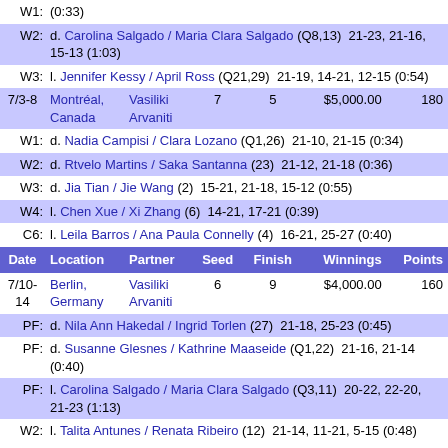| Date | Location | Partner | Seed | Finish | Winnings | Points |
| --- | --- | --- | --- | --- | --- | --- |
| W1: | (truncated top) |  |  |  |  |  |
| W2: | d. Carolina Salgado / Maria Clara Salgado (Q8,13)  21-23, 21-16, 15-13 (1:03) |  |  |  |  |  |
| W3: | l. Jennifer Kessy / April Ross (Q21,29)  21-19, 14-21, 12-15 (0:54) |  |  |  |  |  |
| 7/3-8 | Montréal, Canada | Vasiliki Arvaniti | 7 | 5 | $5,000.00 | 180 |
| W1: | d. Nadia Campisi / Clara Lozano (Q1,26)  21-10, 21-15 (0:34) |  |  |  |  |  |
| W2: | d. Rtvelo Martins / Saka Santanna (23)  21-12, 21-18 (0:36) |  |  |  |  |  |
| W3: | d. Jia Tian / Jie Wang (2)  15-21, 21-18, 15-12 (0:55) |  |  |  |  |  |
| W4: | l. Chen Xue / Xi Zhang (6)  14-21, 17-21 (0:39) |  |  |  |  |  |
| C6: | l. Leila Barros / Ana Paula Connelly (4)  16-21, 25-27 (0:40) |  |  |  |  |  |
| Date | Location | Partner | Seed | Finish | Winnings | Points |
| 7/10-14 | Berlin, Germany | Vasiliki Arvaniti | 6 | 9 | $4,000.00 | 160 |
| PF: | d. Nila Ann Hakedal / Ingrid Torlen (27)  21-18, 25-23 (0:45) |  |  |  |  |  |
| PF: | d. Susanne Glesnes / Kathrine Maaseide (Q1,22)  21-16, 21-14 (0:40) |  |  |  |  |  |
| PF: | l. Carolina Salgado / Maria Clara Salgado (Q3,11)  20-22, 22-20, 21-23 (1:13) |  |  |  |  |  |
| W2: | l. Talita Antunes / Renata Ribeiro (12)  21-14, 11-21, 5-15 (0:48) |  |  |  |  |  |